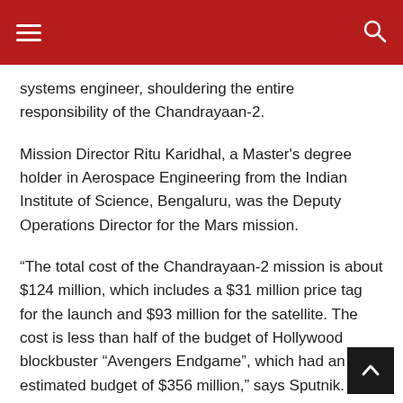☰ [menu] [search]
systems engineer, shouldering the entire responsibility of the Chandrayaan-2.
Mission Director Ritu Karidhal, a Master's degree holder in Aerospace Engineering from the Indian Institute of Science, Bengaluru, was the Deputy Operations Director for the Mars mission.
“The total cost of the Chandrayaan-2 mission is about $124 million, which includes a $31 million price tag for the launch and $93 million for the satellite. The cost is less than half of the budget of Hollywood blockbuster “Avengers Endgame”, which had an estimated budget of $356 million,” says Sputnik.
The Guardian, in a piece titled ‘Everyone’s going back to the Moon. But only China, it seems, As the 50th anniversary of the